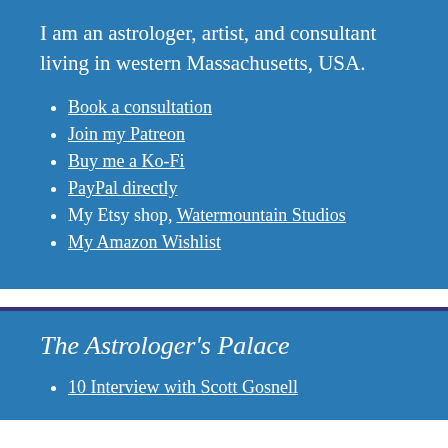I am an astrologer, artist, and consultant living in western Massachusetts, USA.
Book a consultation
Join my Patreon
Buy me a Ko-Fi
PayPal directly
My Etsy shop, Watermountain Studios
My Amazon Wishlist
The Astrologer's Palace
10 Interview with Scott Gosnell